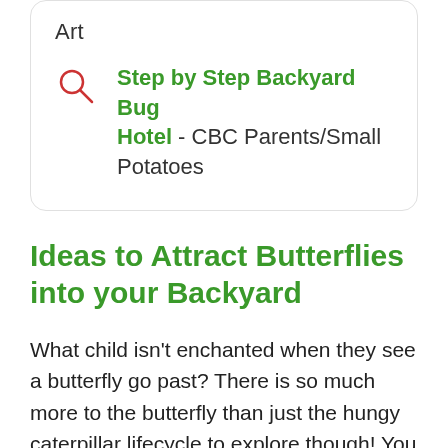Art
Step by Step Backyard Bug Hotel - CBC Parents/Small Potatoes
Ideas to Attract Butterflies into your Backyard
What child isn't enchanted when they see a butterfly go past? There is so much more to the butterfly than just the hungy caterpillar lifecycle to explore though! You